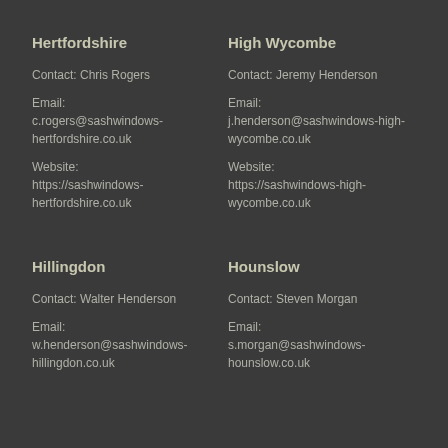Hertfordshire
Contact: Chris Rogers
Email:
c.rogers@sashwindows-hertfordshire.co.uk
Website:
https://sashwindows-hertfordshire.co.uk
High Wycombe
Contact: Jeremy Henderson
Email:
j.henderson@sashwindows-high-wycombe.co.uk
Website:
https://sashwindows-high-wycombe.co.uk
Hillingdon
Contact: Walter Henderson
Email:
w.henderson@sashwindows-hillingdon.co.uk
Hounslow
Contact: Steven Morgan
Email:
s.morgan@sashwindows-hounslow.co.uk